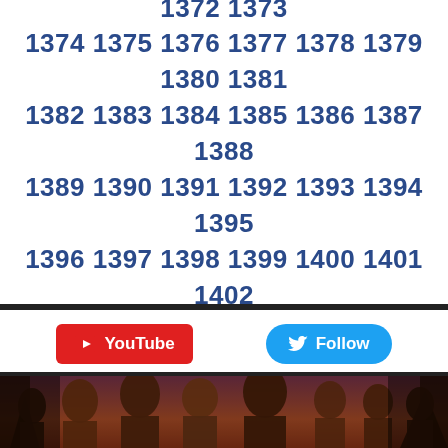1352 1353 1354 1355 1356 1357 1358 1359 1360 1361 1362 1363 1364 1365 1366 1367 1368 1369 1370 1371 1372 1373 1374 1375 1376 1377 1378 1379 1380 1381 1382 1383 1384 1385 1386 1387 1388 1389 1390 1391 1392 1393 1394 1395 1396 1397 1398 1399 1400 1401 1402 1403 1404 1405 1406 1407 1408 1409 1410 1411 1412 1413 1414 1415 1416 1417 1418 1419 ...
[Figure (other): YouTube button (red) and Twitter Follow button (blue) side by side]
[Figure (photo): Movie promotional photo showing a group of characters from the Twilight saga, posed against a dark forest backdrop with warm amber tones]